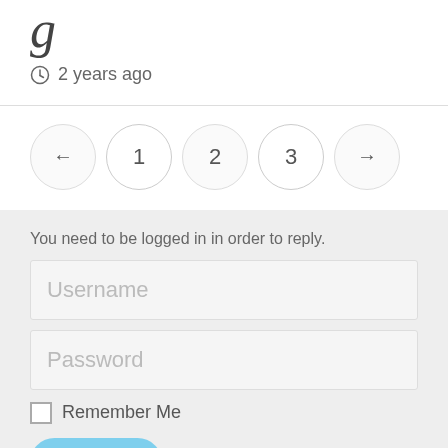g
2 years ago
[Figure (other): Pagination control with back arrow, page numbers 1, 2, 3, and forward arrow in circular buttons]
You need to be logged in in order to reply.
Username
Password
Remember Me
Log In